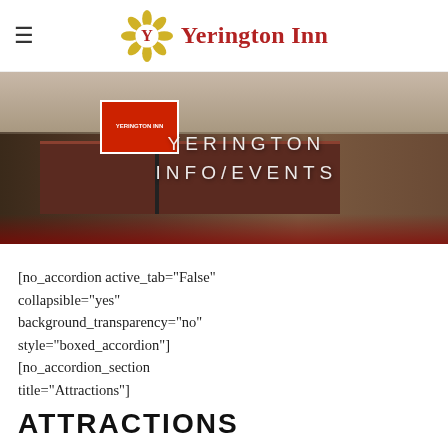≡  Yerington Inn
[Figure (photo): Exterior photo of Yerington Inn motel with red brick building, signage, parked cars, and red flowers in foreground. Text overlay reads 'YERINGTON INFO/EVENTS']
[no_accordion active_tab="False" collapsible="yes" background_transparency="no" style="boxed_accordion"] [no_accordion_section title="Attractions"]
ATTRACTIONS